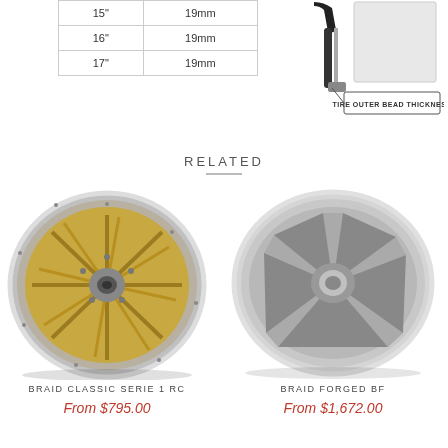| 15" | 19mm |
| 16" | 19mm |
| 17" | 19mm |
[Figure (schematic): Technical diagram showing tire outer bead thickness with a cross-section of a tire bead and a label arrow pointing to 'TIRE OUTER BEAD THICKNESS']
RELATED
[Figure (photo): Braid Classic Serie 1 RC wheel - multi-spoke gold/chrome alloy wheel]
BRAID CLASSIC SERIE 1 RC
From $795.00
[Figure (photo): Braid Forged BF wheel - 5-spoke silver alloy wheel]
BRAID FORGED BF
From $1,672.00